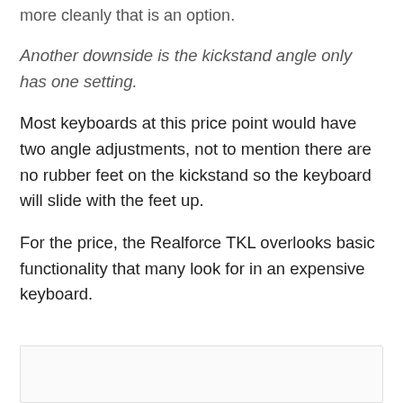more cleanly that is an option.
Another downside is the kickstand angle only has one setting.
Most keyboards at this price point would have two angle adjustments, not to mention there are no rubber feet on the kickstand so the keyboard will slide with the feet up.
For the price, the Realforce TKL overlooks basic functionality that many look for in an expensive keyboard.